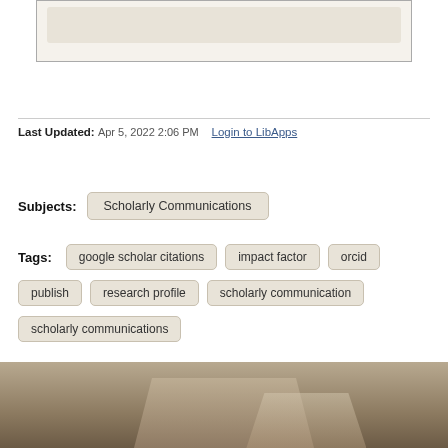[Figure (screenshot): Top bordered box with inner beige/tan panel element, partial UI screenshot]
Last Updated: Apr 5, 2022 2:06 PM    Login to LibApps
Subjects: Scholarly Communications
Tags: google scholar citations  impact factor  orcid  publish  research profile  scholarly communication  scholarly communications
[Figure (photo): Photo strip at bottom showing wooden furniture/desk surface in muted brown tones]